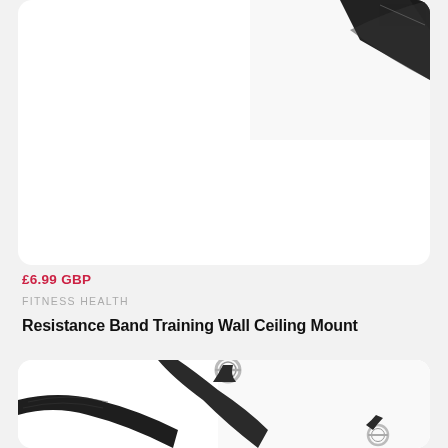[Figure (photo): Top portion of a product card showing a black resistance band wall ceiling mount piece on a white background, partially cropped at the top of the page.]
£6.99 GBP
FITNESS HEALTH
Resistance Band Training Wall Ceiling Mount
[Figure (photo): Close-up photo of black nylon straps with silver D-rings — a resistance band training wall/ceiling mount accessory on a white background, shown in a rounded-corner white card.]